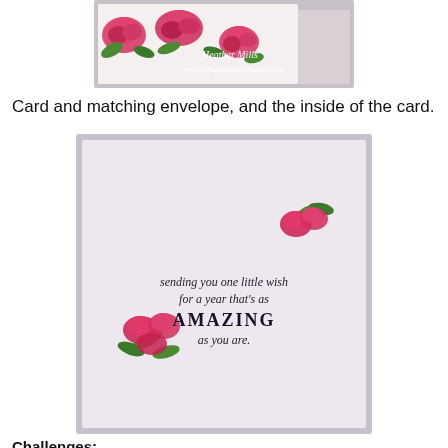[Figure (photo): Photo of a handmade greeting card with pink roses and green leaves resting on a matching envelope. White script text reads 'Heather Mills' and 'www.wireuprapture.blogspot.com' overlaid on the image.]
Card and matching envelope, and the inside of the card.
[Figure (photo): Photo of the inside of a handmade card on a light purple/grey background. Text reads 'sending you one little wish for a year that's as AMAZING as you are.' with pink rose and green leaf embellishments in the upper right and lower left corners.]
Challenges: